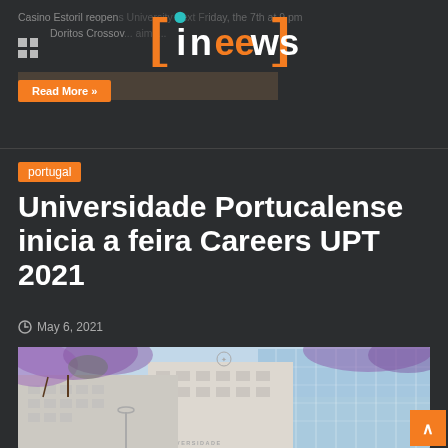Casino Estoril reopens... University next Friday, the 7th at 9 pm
Doritos Crossov... aims...
[Figure (logo): ineews logo — orange bracket, teal dot on i, orange 'e' text]
Read More »
portugal
Universidade Portucalense inicia a feira Careers UPT 2021
May 6, 2021
[Figure (photo): Exterior photo of Universidade Portucalense building with purple flowering jacaranda trees in foreground, modern glass building on right, stone facade building in center with PORTUCALENSE lettering]